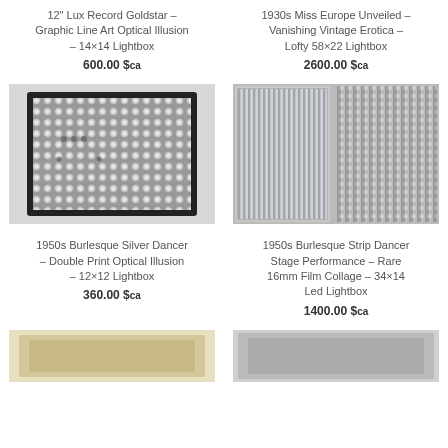12" Lux Record Goldstar – Graphic Line Art Optical Illusion – 14×14 Lightbox
600.00 $ca
1930s Miss Europe Unveiled – Vanishing Vintage Erotica – Lofty 58×22 Lightbox
2600.00 $ca
[Figure (photo): Square lightbox with grid of optical lenses, black frame]
[Figure (photo): Two side-by-side striped lightbox panels, vertical lines pattern]
1950s Burlesque Silver Dancer – Double Print Optical Illusion – 12×12 Lightbox
360.00 $ca
1950s Burlesque Strip Dancer Stage Performance – Rare 16mm Film Collage – 34×14 Led Lightbox
1400.00 $ca
[Figure (photo): Partially visible product image at bottom left]
[Figure (photo): Partially visible product image at bottom right]